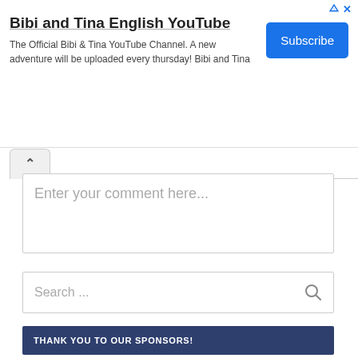[Figure (screenshot): Advertisement banner for Bibi and Tina English YouTube channel with Subscribe button and ad icons]
Bibi and Tina English YouTube
The Official Bibi & Tina YouTube Channel. A new adventure will be uploaded every thursday! Bibi and Tina
Enter your comment here...
Search ...
THANK YOU TO OUR SPONSORS!